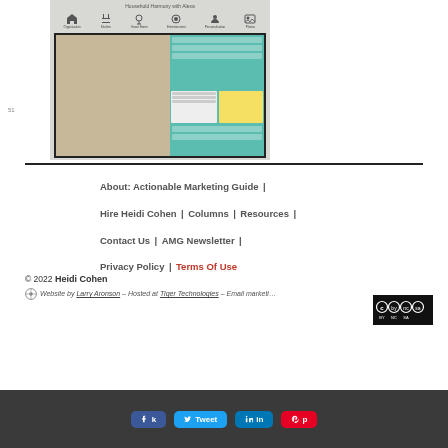[Figure (screenshot): Screenshot of Alexa household harmony app interface showing navigation icons (Organisation, Kitchen, Smart Home, Entertainment, Personalisation, Photos) and a smart home dashboard display]
About: Actionable Marketing Guide | Hire Heidi Cohen | Columns | Resources | Contact Us | AMG Newsletter | Privacy Policy | Terms Of Use
© 2022 Heidi Cohen
Website by Larry Aronson – Hosted at Tiger Technologies – Email marketi...
[Figure (logo): Creative Commons BY NC SA license badge]
Share buttons: Facebook, Twitter, LinkedIn, Pinterest